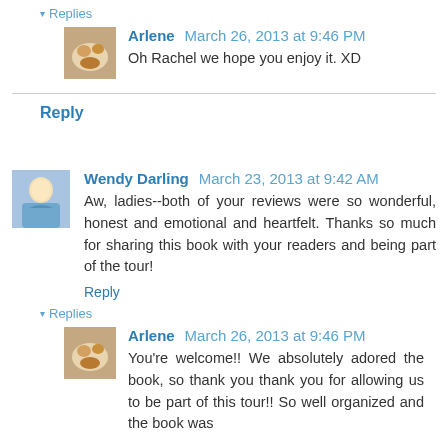Replies
Arlene March 26, 2013 at 9:46 PM
Oh Rachel we hope you enjoy it. XD
Reply
Wendy Darling March 23, 2013 at 9:42 AM
Aw, ladies--both of your reviews were so wonderful, honest and emotional and heartfelt. Thanks so much for sharing this book with your readers and being part of the tour!
Reply
Replies
Arlene March 26, 2013 at 9:46 PM
You're welcome!! We absolutely adored the book, so thank you thank you for allowing us to be part of this tour!! So well organized and the book was